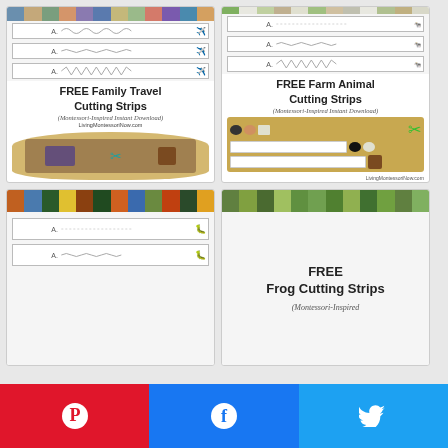[Figure (illustration): FREE Family Travel Cutting Strips card with photo strip and wavy line worksheets in a basket]
[Figure (illustration): FREE Farm Animal Cutting Strips card with farm animal photo strip and cutting line worksheets in a tray]
[Figure (illustration): Bugs/insects cutting strips card with photo strip and dotted line worksheets (partial)]
[Figure (illustration): FREE Frog Cutting Strips card with frog photo strip (partial, Montessori-Inspired label visible)]